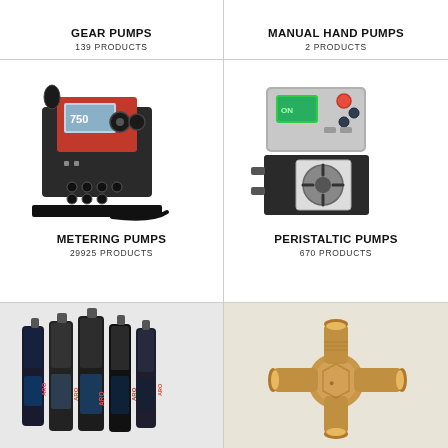GEAR PUMPS
139 PRODUCTS
MANUAL HAND PUMPS
2 PRODUCTS
[Figure (photo): Metering pump — black body with red panel, digital display showing '750', multiple tubing connections at base, black cable]
METERING PUMPS
29925 PRODUCTS
[Figure (photo): Peristaltic pump — gray/silver body with green LCD display and red/black control buttons, transparent peristaltic rotor mechanism visible on front]
PERISTALTIC PUMPS
670 PRODUCTS
[Figure (photo): ARO branded vertical pneumatic pumps — multiple black and dark blue cylindrical pump units with ARO branding]
[Figure (photo): Brass pipe fitting/valve — golden brass cross or tee fitting with multiple threaded ports]